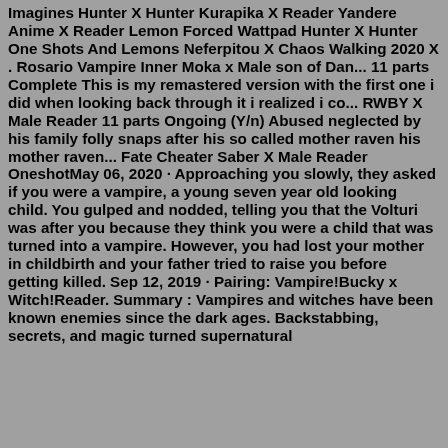Imagines Hunter X Hunter Kurapika X Reader Yandere Anime X Reader Lemon Forced Wattpad Hunter X Hunter One Shots And Lemons Neferpitou X Chaos Walking 2020 X . Rosario Vampire Inner Moka x Male son of Dan... 11 parts Complete This is my remastered version with the first one i did when looking back through it i realized i co... RWBY X Male Reader 11 parts Ongoing (Y/n) Abused neglected by his family folly snaps after his so called mother raven his mother raven... Fate Cheater Saber X Male Reader OneshotMay 06, 2020 · Approaching you slowly, they asked if you were a vampire, a young seven year old looking child. You gulped and nodded, telling you that the Volturi was after you because they think you were a child that was turned into a vampire. However, you had lost your mother in childbirth and your father tried to raise you before getting killed. Sep 12, 2019 · Pairing: Vampire!Bucky x Witch!Reader. Summary : Vampires and witches have been known enemies since the dark ages. Backstabbing, secrets, and magic turned supernatural